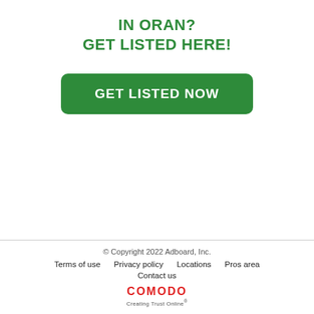IN ORAN?
GET LISTED HERE!
[Figure (other): Green rounded rectangle button with white bold text reading GET LISTED NOW]
© Copyright 2022 Adboard, Inc.
Terms of use   Privacy policy   Locations   Pros area
Contact us
COMODO Creating Trust Online®